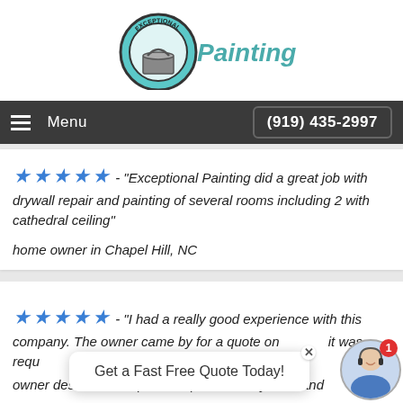[Figure (logo): Exceptional Painting logo with teal paint can graphic and 'Painting' text in teal/gray]
Menu   (919) 435-2997
★★★★★ - "Exceptional Painting did a great job with drywall repair and painting of several rooms including 2 with cathedral ceiling"
home owner in Chapel Hill, NC
★★★★★ - "I had a really good experience with this company. The owner came by for a quote on... it was requ... an... quite rea... ner. owner described the process (where every door and
Get a Fast Free Quote Today!